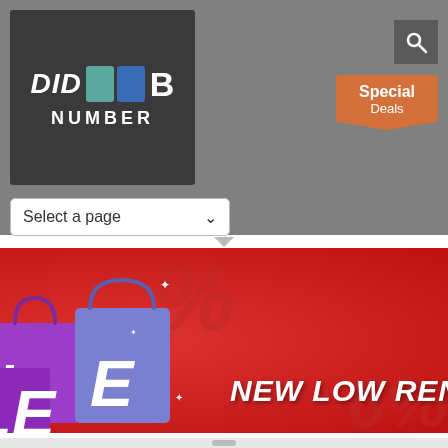[Figure (logo): DID Number logo with colorful cubes and white text on dark background]
[Figure (screenshot): Search icon button in grey box]
[Figure (infographic): Orange Special Deals badge/button with pentagon shape]
[Figure (screenshot): Select a page dropdown navigation menu]
[Figure (infographic): Red hero banner with shopping bags sale illustration and text NEW LOW RENTAL]